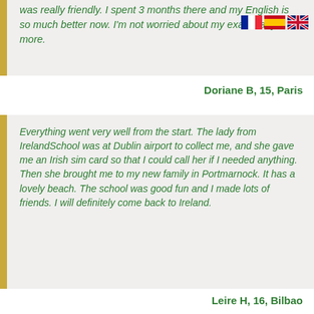was really friendly. I spent 3 months there and my English is so much better now. I'm not worried about my exams any more.
Doriane B, 15, Paris
Everything went very well from the start. The lady from IrelandSchool was at Dublin airport to collect me, and she gave me an Irish sim card so that I could call her if I needed anything. Then she brought me to my new family in Portmarnock. It has a lovely beach. The school was good fun and I made lots of friends. I will definitely come back to Ireland.
Leire H, 16, Bilbao